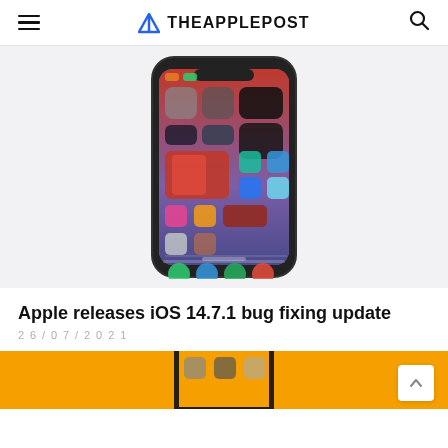THEAPPLEPOST
[Figure (photo): iPhone with iOS 14 home screen showing widgets and app icons on a purple-gradient wallpaper, displayed against a light gray background]
Apple releases iOS 14.7.1 bug fixing update
26/07/2021
[Figure (photo): Bottom portion of an iPhone on an orange background, partially cropped, showing clock and other app icons]